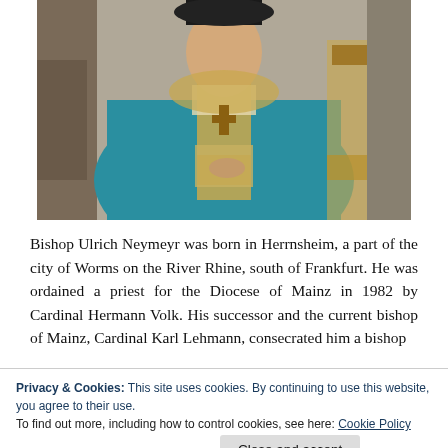[Figure (photo): Bishop Ulrich Neymeyr in teal/turquoise liturgical vestments with gold embroidered stole and collar, holding a book, standing before a gilded stand or throne in a church setting.]
Bishop Ulrich Neymeyr was born in Herrnsheim, a part of the city of Worms on the River Rhine, south of Frankfurt. He was ordained a priest for the Diocese of Mainz in 1982 by Cardinal Hermann Volk. His successor and the current bishop of Mainz, Cardinal Karl Lehmann, consecrated him a bishop
Privacy & Cookies: This site uses cookies. By continuing to use this website, you agree to their use.
To find out more, including how to control cookies, see here: Cookie Policy
Close and accept
For Mainz the move means the beginning of a